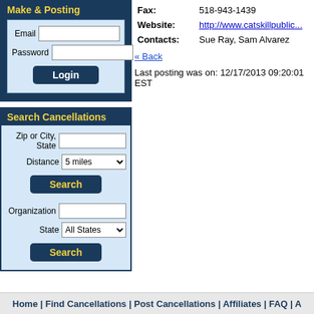Make & Posting
Email | Password | Login
Search Cancellations
Zip or City, State | Distance: 5 miles | Search
Organization | State: All States | Search
| Field | Value |
| --- | --- |
| Fax: | 518-943-1439 |
| Website: | http://www.catskillpublic... |
| Contacts: | Sue Ray, Sam Alvarez |
« Back
Last posting was on: 12/17/2013 09:20:01 EST
Home | Find Cancellations | Post Cancellations | Affiliates | FAQ | A